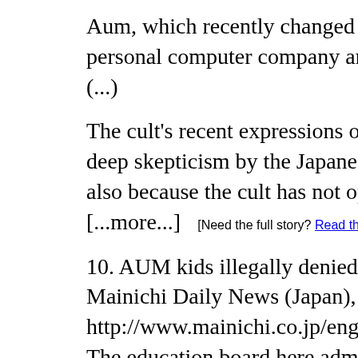Aum, which recently changed its name to Aleph, al... personal computer company and transfer all proce... (...)
The cult's recent expressions of contrition, however, ... deep skepticism by the Japanese public not only b... also because the cult has not opened its books. [...more...]   [Need the full story? Read this]
10. AUM kids illegally denied schooling
Mainichi Daily News (Japan), Jan. 29, 2000
http://www.mainichi.co.jp/english/news/news06.htm
The education board here admitted Friday that it ill... a convicted AUM Shinrikyo executive places in a p... regardless, it will not let the kids attend class.
(...)
"Our action clearly infringed on the School Educati... the board, who wished to remain anonymous, adm... our policy, as we cannot allow the twins' entry to di...